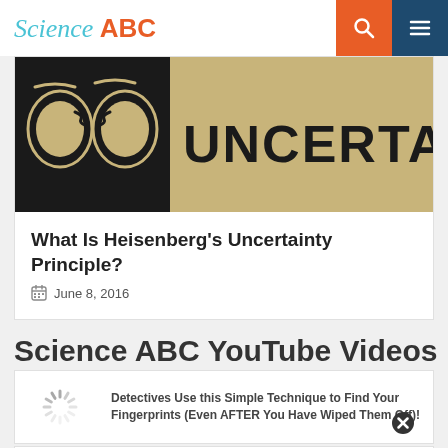Science ABC
[Figure (photo): Illustration of Heisenberg's Uncertainty Principle — cartoon face with glasses on left, large text 'UNCERTAINTY' on right, vintage/grunge style]
What Is Heisenberg's Uncertainty Principle?
June 8, 2016
Science ABC YouTube Videos
[Figure (screenshot): Loading spinner icon (video thumbnail placeholder)]
Detectives Use this Simple Technique to Find Your Fingerprints (Even AFTER You Have Wiped Them Off)!